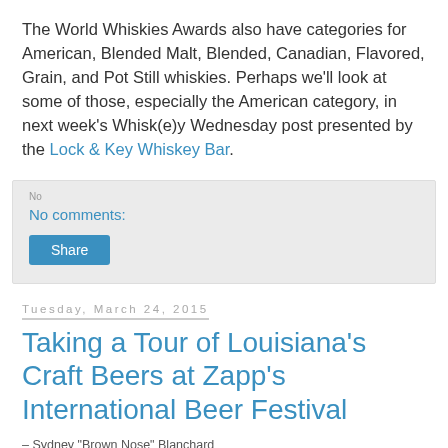The World Whiskies Awards also have categories for American, Blended Malt, Blended, Canadian, Flavored, Grain, and Pot Still whiskies. Perhaps we'll look at some of those, especially the American category, in next week's Whisk(e)y Wednesday post presented by the Lock & Key Whiskey Bar.
No comments:
Share
Tuesday, March 24, 2015
Taking a Tour of Louisiana's Craft Beers at Zapp's International Beer Festival
– Sydney "Brown Nose" Blanchard
[Figure (photo): Partially visible photo at bottom of page]